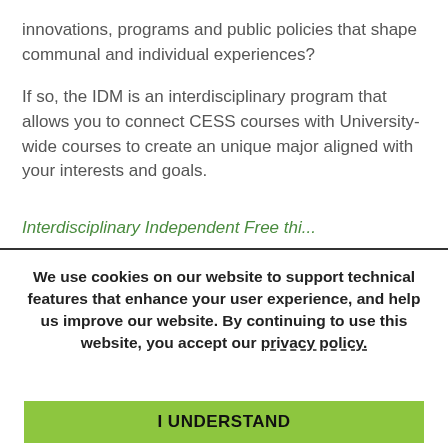innovations, programs and public policies that shape communal and individual experiences?
If so, the IDM is an interdisciplinary program that allows you to connect CESS courses with University-wide courses to create an unique major aligned with your interests and goals.
We use cookies on our website to support technical features that enhance your user experience, and help us improve our website. By continuing to use this website, you accept our privacy policy.
I UNDERSTAND